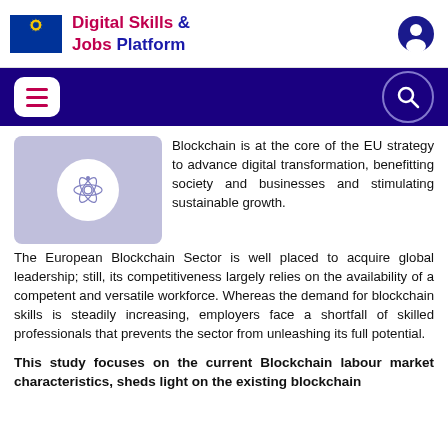Digital Skills & Jobs Platform
[Figure (screenshot): Navigation bar with hamburger menu on the left and search icon on the right on dark blue background]
[Figure (illustration): Thumbnail image with light purple background and atomic/network icon in a white circle]
Blockchain is at the core of the EU strategy to advance digital transformation, benefitting society and businesses and stimulating sustainable growth. The European Blockchain Sector is well placed to acquire global leadership; still, its competitiveness largely relies on the availability of a competent and versatile workforce. Whereas the demand for blockchain skills is steadily increasing, employers face a shortfall of skilled professionals that prevents the sector from unleashing its full potential.
This study focuses on the current Blockchain labour market characteristics, sheds light on the existing blockchain